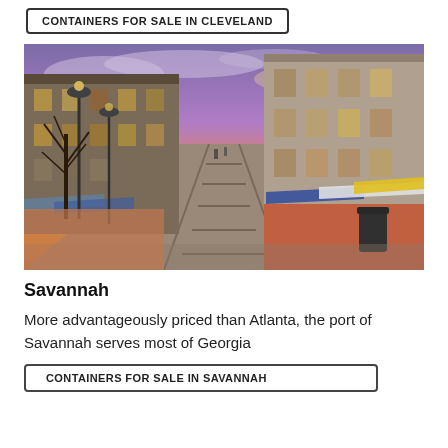CONTAINERS FOR SALE IN CLEVELAND
[Figure (photo): Street-level view of a historic cobblestone street in Savannah with old brick buildings, awnings, storefronts, street lamps, bare trees, and a dramatic purple-orange sunset sky]
Savannah
More advantageously priced than Atlanta, the port of Savannah serves most of Georgia
CONTAINERS FOR SALE IN SAVANNAH